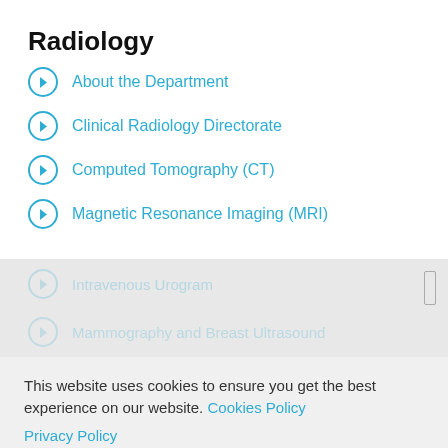Radiology
About the Department
Clinical Radiology Directorate
Computed Tomography (CT)
Magnetic Resonance Imaging (MRI)
Intravenous Urogram
Mammography and Breast Ultrasound
This website uses cookies to ensure you get the best experience on our website. Cookies Policy
Privacy Policy
Nuclear Medicine Imaging (Scintigraphy)
Fluoroscopy and Interventional Imaging